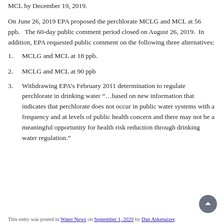MCL by December 19, 2019.
On June 26, 2019 EPA proposed the perchlorate MCLG and MCL at 56 ppb.   The 60-day public comment period closed on August 26, 2019.  In addition, EPA requested public comment on the following three alternatives:
1. MCLG and MCL at 18 ppb.
2. MCLG and MCL at 90 ppb
3. Withdrawing EPA’s February 2011 determination to regulate perchlorate in drinking water “…based on new information that indicates that perchlorate does not occur in public water systems with a frequency and at levels of public health concern and there may not be a meaningful opportunity for health risk reduction through drinking water regulation.”
This entry was posted in Water News on September 1, 2020 by Dan Askenaizer.